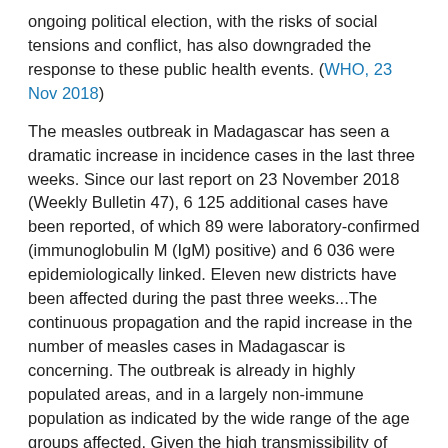ongoing political election, with the risks of social tensions and conflict, has also downgraded the response to these public health events. (WHO, 23 Nov 2018)
The measles outbreak in Madagascar has seen a dramatic increase in incidence cases in the last three weeks. Since our last report on 23 November 2018 (Weekly Bulletin 47), 6 125 additional cases have been reported, of which 89 were laboratory-confirmed (immunoglobulin M (IgM) positive) and 6 036 were epidemiologically linked. Eleven new districts have been affected during the past three weeks...The continuous propagation and the rapid increase in the number of measles cases in Madagascar is concerning. The outbreak is already in highly populated areas, and in a largely non-immune population as indicated by the wide range of the age groups affected. Given the high transmissibility of measles, it can be expected that this outbreak may evolve exponentially. (WHO, 14 Dec 2018)